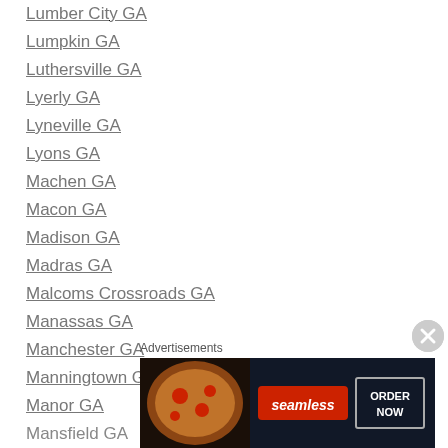Lumber City GA
Lumpkin GA
Luthersville GA
Lyerly GA
Lyneville GA
Lyons GA
Machen GA
Macon GA
Madison GA
Madras GA
Malcoms Crossroads GA
Manassas GA
Manchester GA
Manningtown GA
Manor GA
Mansfield GA
Advertisements
[Figure (other): Seamless food delivery advertisement banner with pizza image and ORDER NOW button]